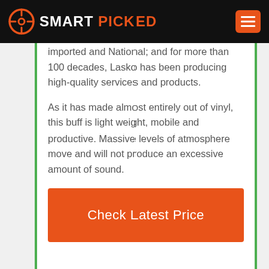SMART PICKED
imported and National; and for more than 100 decades, Lasko has been producing high-quality services and products.
As it has made almost entirely out of vinyl, this buff is light weight, mobile and productive. Massive levels of atmosphere move and will not produce an excessive amount of sound.
Check Latest Price